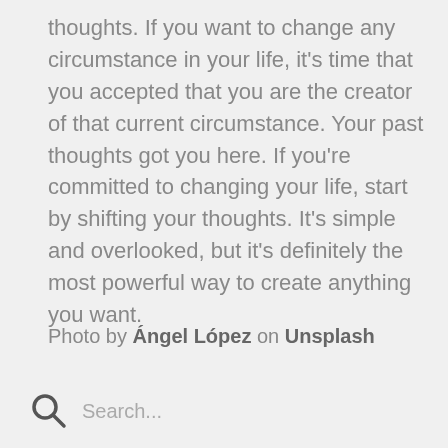thoughts. If you want to change any circumstance in your life, it's time that you accepted that you are the creator of that current circumstance. Your past thoughts got you here. If you're committed to changing your life, start by shifting your thoughts. It's simple and overlooked, but it's definitely the most powerful way to create anything you want.
Photo by Ángel López on Unsplash
Search...